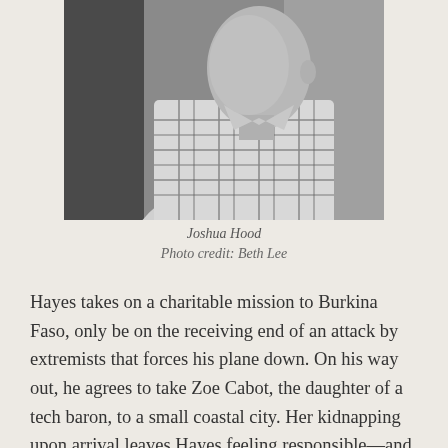[Figure (photo): Black and white portrait photo of Joshua Hood, a man in a plaid shirt, shown from the side/three-quarter view.]
Joshua Hood
Photo credit: Beth Lee
Hayes takes on a charitable mission to Burkina Faso, only be on the receiving end of an attack by extremists that forces his plane down. On his way out, he agrees to take Zoe Cabot, the daughter of a tech baron, to a small coastal city. Her kidnapping upon arrival leaves Hayes feeling responsible—and the troubles just keep on piling